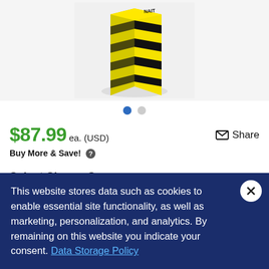[Figure (photo): Yellow and black striped triangular/square column protector guard product on light gray background]
$87.99 ea. (USD)
Share
Buy More & Save!
Select Shape: Square
Square
Triangle
This website stores data such as cookies to enable essential site functionality, as well as marketing, personalization, and analytics. By remaining on this website you indicate your consent. Data Storage Policy